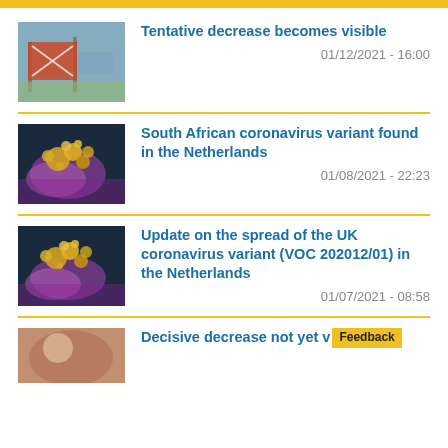[Figure (photo): Outdoor sign/warning board near a sports field or park area]
Tentative decrease becomes visible
01/12/2021 - 16:00
[Figure (photo): Microscopic image of coronavirus particles (yellow) on purple/teal cell surface]
South African coronavirus variant found in the Netherlands
01/08/2021 - 22:23
[Figure (photo): Microscopic image of coronavirus particles (yellow) on purple/teal cell surface]
Update on the spread of the UK coronavirus variant (VOC 202012/01) in the Netherlands
01/07/2021 - 08:58
[Figure (photo): Partial image of a person or medical scene]
Decisive decrease not yet v
Feedback